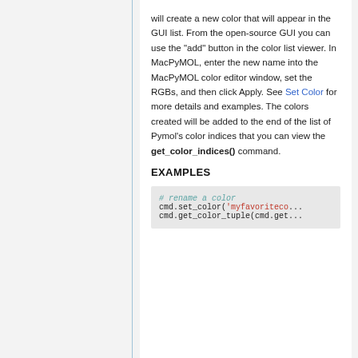will create a new color that will appear in the GUI list. From the open-source GUI you can use the "add" button in the color list viewer. In MacPyMOL, enter the new name into the MacPyMOL color editor window, set the RGBs, and then click Apply. See Set Color for more details and examples. The colors created will be added to the end of the list of Pymol's color indices that you can view the get_color_indices() command.
EXAMPLES
# rename a color
cmd.set_color('myfavoriteco...
cmd.get_color_tuple(cmd.get...